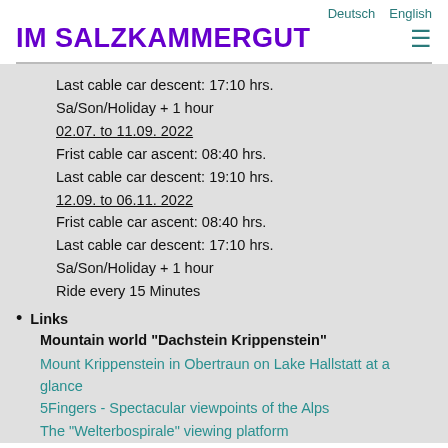Deutsch  English
IM SALZKAMMERGUT
Last cable car descent: 17:10 hrs.
Sa/Son/Holiday + 1 hour
02.07. to 11.09. 2022
Frist cable car ascent: 08:40 hrs.
Last cable car descent: 19:10 hrs.
12.09. to 06.11. 2022
Frist cable car ascent: 08:40 hrs.
Last cable car descent: 17:10 hrs.
Sa/Son/Holiday + 1 hour
Ride every 15 Minutes
Links
Mountain world "Dachstein Krippenstein"
Mount Krippenstein in Obertraun on Lake Hallstatt at a glance
5Fingers - Spectacular viewpoints of the Alps
The "Welterbospirale" viewing platform